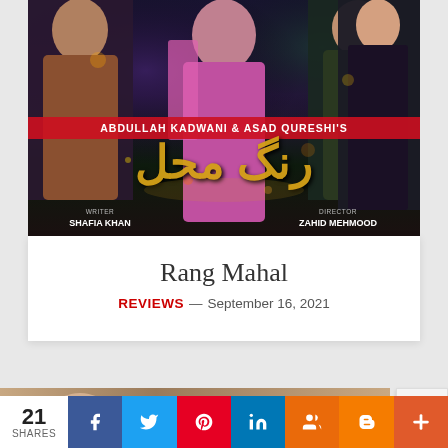[Figure (photo): Promotional poster for Pakistani drama 'Rang Mahal' produced by Abdullah Kadwani & Asad Qureshi. Shows cast members with Urdu title in gold lettering. Writer: Shafia Khan, Director: Zahid Mehmood.]
Rang Mahal
REVIEWS — September 16, 2021
[Figure (photo): Lower banner showing I Dream Entertainment Presents with partial figure visible]
21 SHARES
Social share buttons: Facebook, Twitter, Pinterest, LinkedIn, Myspace, Blogger, More